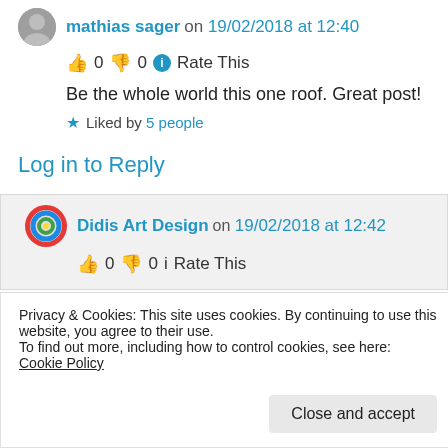mathias sager on 19/02/2018 at 12:40
👍 0 👎 0 ℹ Rate This
Be the whole world this one roof. Great post!
★ Liked by 5 people
Log in to Reply
Didis Art Design on 19/02/2018 at 12:42
👍 0 👎 0 ℹ Rate This
Privacy & Cookies: This site uses cookies. By continuing to use this website, you agree to their use.
To find out more, including how to control cookies, see here: Cookie Policy